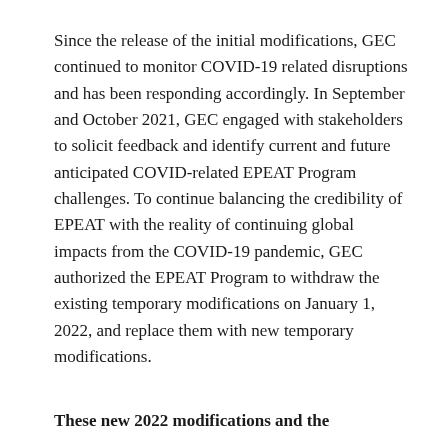Since the release of the initial modifications, GEC continued to monitor COVID-19 related disruptions and has been responding accordingly. In September and October 2021, GEC engaged with stakeholders to solicit feedback and identify current and future anticipated COVID-related EPEAT Program challenges. To continue balancing the credibility of EPEAT with the reality of continuing global impacts from the COVID-19 pandemic, GEC authorized the EPEAT Program to withdraw the existing temporary modifications on January 1, 2022, and replace them with new temporary modifications.
These new 2022 modifications and the